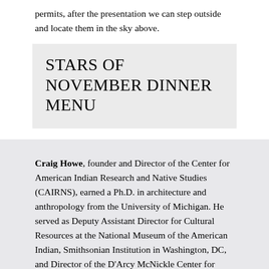permits, after the presentation we can step outside and locate them in the sky above.
STARS OF NOVEMBER DINNER MENU
Craig Howe, founder and Director of the Center for American Indian Research and Native Studies (CAIRNS), earned a Ph.D. in architecture and anthropology from the University of Michigan. He served as Deputy Assistant Director for Cultural Resources at the National Museum of the American Indian, Smithsonian Institution in Washington, DC, and Director of the D'Arcy McNickle Center for